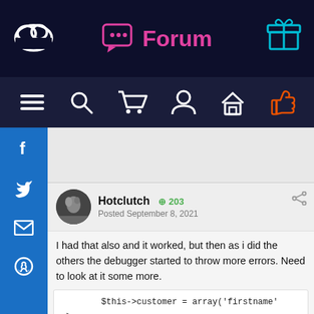Forum
[Figure (screenshot): Navigation bar with hamburger menu, search, cart, user, home, and notification icons on dark background]
[Figure (screenshot): Social sidebar with Facebook, Twitter, email, and GitHub icons on blue background]
Hotclutch  203
Posted September 8, 2021
I had that also and it worked, but then as i did the others the debugger started to throw more errors. Need to look at it some more.
$this->customer = array('firstname'
=>
$customer_address['customers_firstname'],
                                'lastname' =>
$customer_address['customers_lastname'],
                                'company' =>